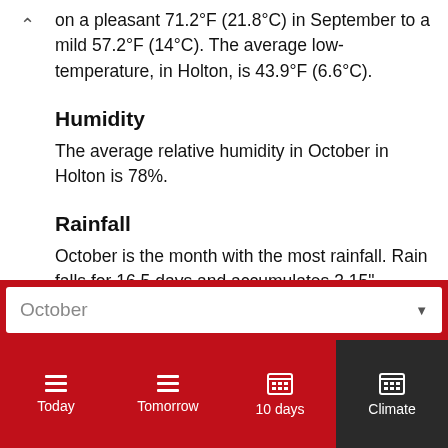on a pleasant 71.2°F (21.8°C) in September to a mild 57.2°F (14°C). The average low-temperature, in Holton, is 43.9°F (6.6°C).
Humidity
The average relative humidity in October in Holton is 78%.
Rainfall
October is the month with the most rainfall. Rain falls for 16.5 days and accumulates 3.15" (80mm) of precipitation.